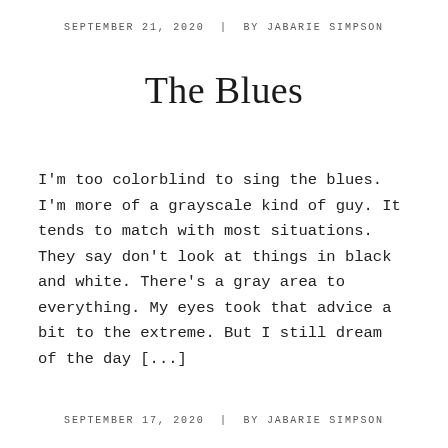SEPTEMBER 21, 2020  |  BY JABARIE SIMPSON
The Blues
I'm too colorblind to sing the blues. I'm more of a grayscale kind of guy. It tends to match with most situations. They say don't look at things in black and white. There's a gray area to everything. My eyes took that advice a bit to the extreme. But I still dream of the day [...]
SEPTEMBER 17, 2020  |  BY JABARIE SIMPSON